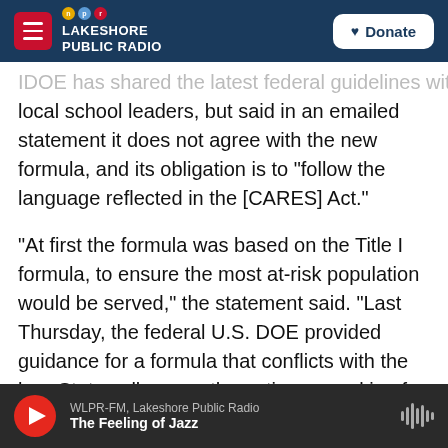Lakeshore Public Radio — NPR — Donate
IDOE has shared the latest federal guidelines with local school leaders, but said in an emailed statement it does not agree with the new formula, and its obligation is to "follow the language reflected in the [CARES] Act."
"At first the formula was based on the Title I formula, to ensure the most at-risk population would be served," the statement said. "Last Thursday, the federal U.S. DOE provided guidance for a formula that conflicts with the law. States all across the nation are asking for clarity and scratching their heads at why this occurred."
WLPR-FM, Lakeshore Public Radio — The Feeling of Jazz